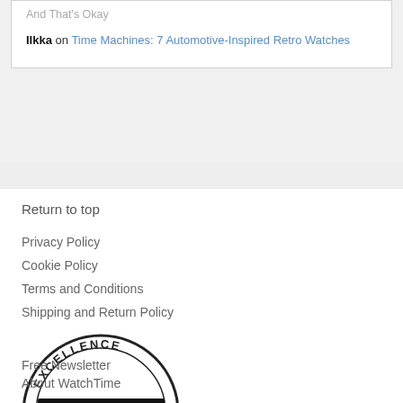And That's Okay
Ilkka on Time Machines: 7 Automotive-Inspired Retro Watches
Return to top
Privacy Policy
Cookie Policy
Terms and Conditions
Shipping and Return Policy
[Figure (logo): Excellence Watch Experts Network circular stamp logo with black banner reading WATCH EXPERTS]
Free Newsletter
About WatchTime